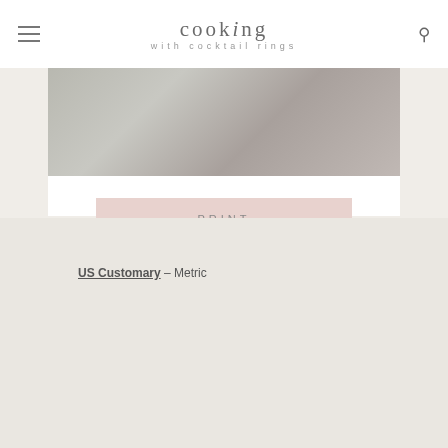cooking with cocktail rings
[Figure (photo): Food photo strip at top of recipe card]
PRINT
PIN
PREP TIME 5 MINS
COOK TIME 0 MINS
US Customary – Metric